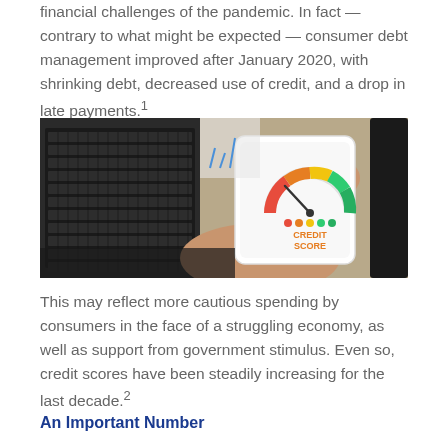financial challenges of the pandemic. In fact — contrary to what might be expected — consumer debt management improved after January 2020, with shrinking debt, decreased use of credit, and a drop in late payments.¹
[Figure (photo): Person holding a smartphone displaying a credit score gauge/meter app, with a laptop keyboard and papers visible in the background.]
This may reflect more cautious spending by consumers in the face of a struggling economy, as well as support from government stimulus. Even so, credit scores have been steadily increasing for the last decade.²
An Important Number